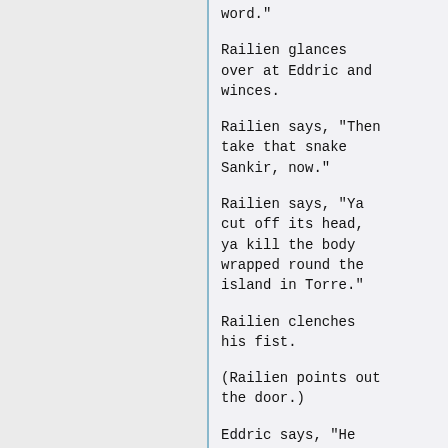word."
Railien glances over at Eddric and winces.
Railien says, "Then take that snake Sankir, now."
Railien says, "Ya cut off its head, ya kill the body wrapped round the island in Torre."
Railien clenches his fist.
(Railien points out the door.)
Eddric says, "He has arrived here flying a flag of truce. To this